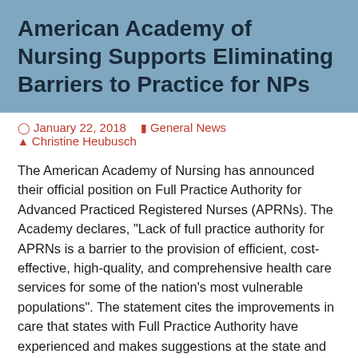American Academy of Nursing Supports Eliminating Barriers to Practice for NPs
January 22, 2018   General News   Christine Heubusch
The American Academy of Nursing has announced their official position on Full Practice Authority for Advanced Practiced Registered Nurses (APRNs). The Academy declares, "Lack of full practice authority for APRNs is a barrier to the provision of efficient, cost-effective, high-quality, and comprehensive health care services for some of the nation's most vulnerable populations". The statement cites the improvements in care that states with Full Practice Authority have experienced and makes suggestions at the state and federal level for lowering barriers to practice. Read the full statement below.